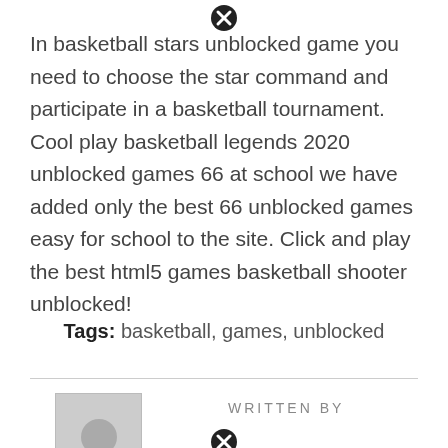[Figure (other): Close/X button icon at top center of page]
In basketball stars unblocked game you need to choose the star command and participate in a basketball tournament. Cool play basketball legends 2020 unblocked games 66 at school we have added only the best 66 unblocked games easy for school to the site. Click and play the best html5 games basketball shooter unblocked!
Tags: basketball, games, unblocked
[Figure (other): Author avatar placeholder image (gray square with white circle)]
WRITTEN BY
[Figure (other): Close/X button icon below WRITTEN BY label]